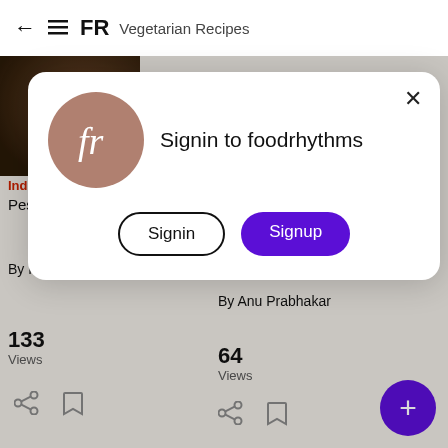← ≡ FR   Vegetarian Recipes
Indian
Pesh
Tuna )
By Kitchen Sanctuary
By Anu Prabhakar
133
Views
64
Views
[Figure (screenshot): Modal dialog with foodrhythms logo, 'Signin to foodrhythms' heading, Signin and Signup buttons]
Signin to foodrhythms
Signin
Signup